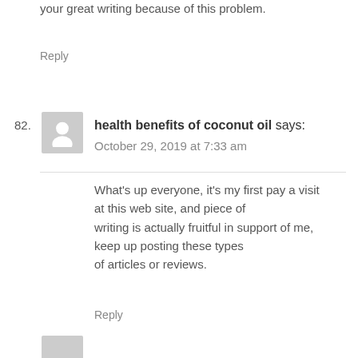your great writing because of this problem.
Reply
82.
health benefits of coconut oil says:
October 29, 2019 at 7:33 am
What’s up everyone, it’s my first pay a visit at this web site, and piece of writing is actually fruitful in support of me, keep up posting these types of articles or reviews.
Reply